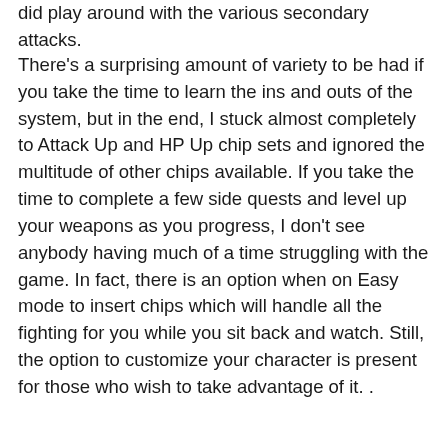did play around with the various secondary attacks.
There's a surprising amount of variety to be had if you take the time to learn the ins and outs of the system, but in the end, I stuck almost completely to Attack Up and HP Up chip sets and ignored the multitude of other chips available. If you take the time to complete a few side quests and level up your weapons as you progress, I don't see anybody having much of a time struggling with the game. In fact, there is an option when on Easy mode to insert chips which will handle all the fighting for you while you sit back and watch. Still, the option to customize your character is present for those who wish to take advantage of it. .